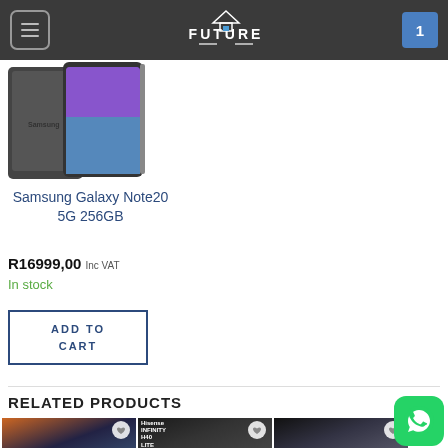Future Telecoms
[Figure (photo): Samsung Galaxy Note20 5G 256GB smartphone product image showing front and back of the phone]
Samsung Galaxy Note20 5G 256GB
R16999,00 Inc VAT
In stock
ADD TO CART
RELATED PRODUCTS
[Figure (photo): Related product 1 – smartphone with orange/dark background]
[Figure (photo): Related product 2 – Hisense Infinity H40 Lite smartphone]
[Figure (photo): Related product 3 – smartphone with dark background]